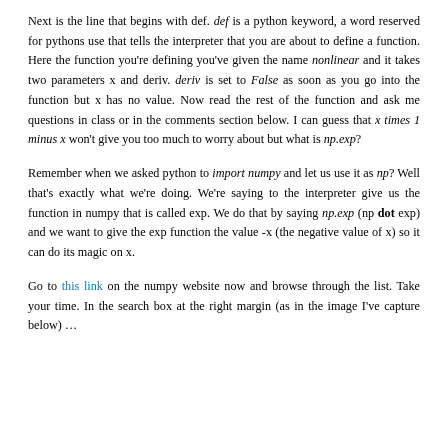does nothing as code might be expected to do.
Next is the line that begins with def. def is a python keyword, a word reserved for pythons use that tells the interpreter that you are about to define a function. Here the function you're defining you've given the name nonlinear and it takes two parameters x and deriv. deriv is set to False as soon as you go into the function but x has no value. Now read the rest of the function and ask me questions in class or in the comments section below. I can guess that x times 1 minus x won't give you too much to worry about but what is np.exp?
Remember when we asked python to import numpy and let us use it as np? Well that's exactly what we're doing. We're saying to the interpreter give us the function in numpy that is called exp. We do that by saying np.exp (np dot exp) and we want to give the exp function the value -x (the negative value of x) so it can do its magic on x.
Go to this link on the numpy website now and browse through the list. Take your time. In the search box at the right margin (as in the image I've capture below) …